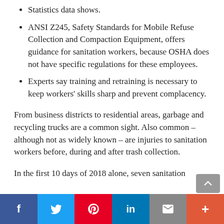Statistics data shows.
ANSI Z245, Safety Standards for Mobile Refuse Collection and Compaction Equipment, offers guidance for sanitation workers, because OSHA does not have specific regulations for these employees.
Experts say training and retraining is necessary to keep workers' skills sharp and prevent complacency.
From business districts to residential areas, garbage and recycling trucks are a common sight. Also common – although not as widely known – are injuries to sanitation workers before, during and after trash collection.
In the first 10 days of 2018 alone, seven sanitation
f  Twitter  Pinterest  in  Email  +